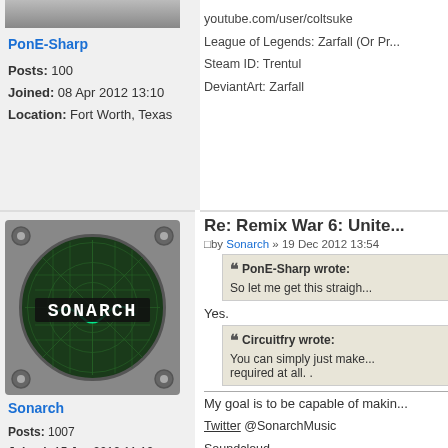[Figure (photo): Partial avatar image of PonE-Sharp (cropped at top)]
PonE-Sharp
Posts: 100
Joined: 08 Apr 2012 13:10
Location: Fort Worth, Texas
youtube.com/user/coltsuke
League of Legends: Zarfall (Or Pr...
Steam ID: Trentul
DeviantArt: Zarfall
[Figure (illustration): Sonarch avatar: radar/sonar screen with SONARCH text on dark green circular display with grid, mounted in gray square frame]
Sonarch
Posts: 1007
Joined: 15 Jun 2012 11:12
Location: Maine
OS: Windows (Big circular ones)
Primary: FL Studio
Re: Remix War 6: Unite...
by Sonarch » 19 Dec 2012 13:54
PonE-Sharp wrote:
So let me get this straigh...
Yes.
Circuitfry wrote:
You can simply just make...
required at all. .
My goal is to be capable of makin...
Twitter @SonarchMusic
Soundcloud
Tumblr